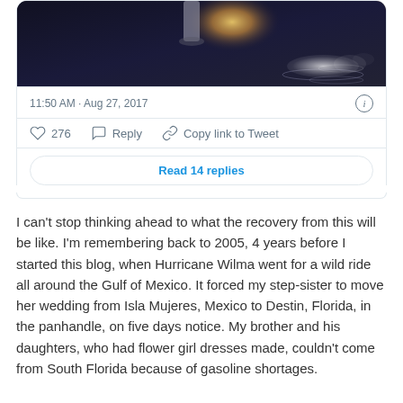[Figure (photo): Dark image showing a candle or light source with warm golden glow against a dark background, with water or reflective surface visible]
11:50 AM · Aug 27, 2017
276  Reply  Copy link to Tweet
Read 14 replies
I can't stop thinking ahead to what the recovery from this will be like. I'm remembering back to 2005, 4 years before I started this blog, when Hurricane Wilma went for a wild ride all around the Gulf of Mexico. It forced my step-sister to move her wedding from Isla Mujeres, Mexico to Destin, Florida, in the panhandle, on five days notice. My brother and his daughters, who had flower girl dresses made, couldn't come from South Florida because of gasoline shortages.